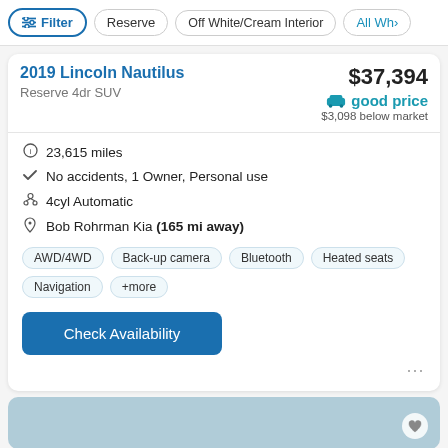Filter | Reserve | Off White/Cream Interior | All Wh>
2019 Lincoln Nautilus
Reserve 4dr SUV
$37,394
good price
$3,098 below market
23,615 miles
No accidents, 1 Owner, Personal use
4cyl Automatic
Bob Rohrman Kia (165 mi away)
AWD/4WD  Back-up camera  Bluetooth  Heated seats  Navigation  +more
Check Availability